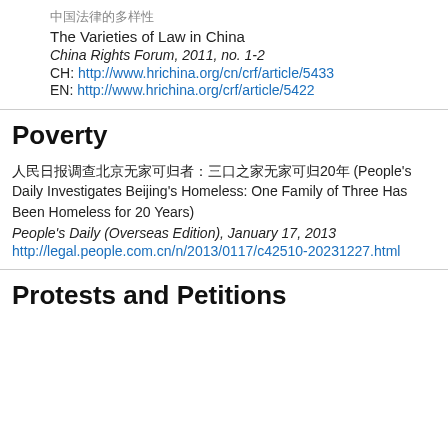中国法律的多样性
The Varieties of Law in China
China Rights Forum, 2011, no. 1-2
CH: http://www.hrichina.org/cn/crf/article/5433
EN: http://www.hrichina.org/crf/article/5422
Poverty
人民日报调查北京无家可归者：三口之家无家可归20年 (People's Daily Investigates Beijing's Homeless: One Family of Three Has Been Homeless for 20 Years)
People's Daily (Overseas Edition), January 17, 2013
http://legal.people.com.cn/n/2013/0117/c42510-20231227.html
Protests and Petitions